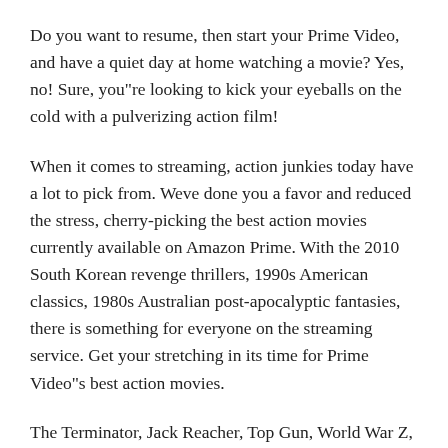Do you want to resume, then start your Prime Video, and have a quiet day at home watching a movie? Yes, no! Sure, you"re looking to kick your eyeballs on the cold with a pulverizing action film!
When it comes to streaming, action junkies today have a lot to pick from. Weve done you a favor and reduced the stress, cherry-picking the best action movies currently available on Amazon Prime. With the 2010 South Korean revenge thrillers, 1990s American classics, 1980s Australian post-apocalyptic fantasies, there is something for everyone on the streaming service. Get your stretching in its time for Prime Video"s best action movies.
The Terminator, Jack Reacher, Top Gun, World War Z, Sonic the Hedgehog, Independence Day, No Time to Die, Snake Eyes: GI Joe Origins, Maze Runner: The Death Cure, Logan, The Hunt, Knight and Day, and Deadpool are some of the most